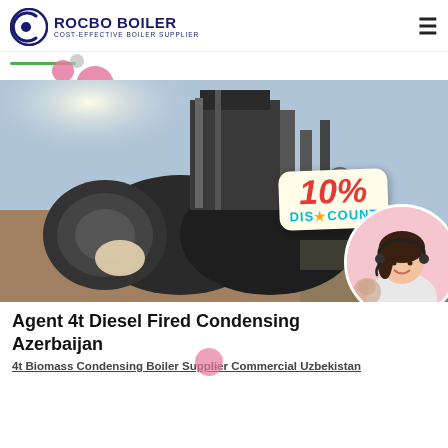[Figure (logo): Rocbo Boiler logo with crescent moon/C shape icon and text 'ROCBO BOILER - COST-EFFECTIVE BOILER SUPPLIER' in dark blue]
[Figure (photo): Industrial boiler equipment photo outdoors, with a 10% DISCOUNT badge overlay and a circular avatar of a woman with headset in bottom right]
Agent 4t Diesel Fired Condensing Azerbaijan
4t Biomass Condensing Boiler Supplier Commercial Uzbekistan